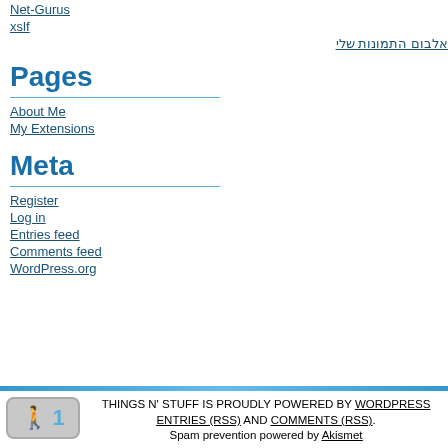Net-Gurus
xslf
אלבום התמונות שלי
Pages
About Me
My Extensions
Meta
Register
Log in
Entries feed
Comments feed
WordPress.org
THINGS N' STUFF IS PROUDLY POWERED BY WORDPRESS ENTRIES (RSS) AND COMMENTS (RSS). Spam prevention powered by Akismet